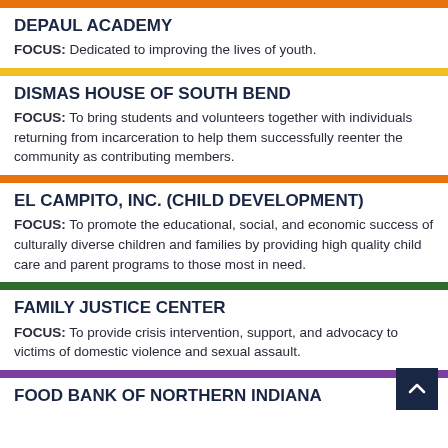DEPAUL ACADEMY
FOCUS: Dedicated to improving the lives of youth.
DISMAS HOUSE OF SOUTH BEND
FOCUS: To bring students and volunteers together with individuals returning from incarceration to help them successfully reenter the community as contributing members.
EL CAMPITO, INC. (CHILD DEVELOPMENT)
FOCUS: To promote the educational, social, and economic success of culturally diverse children and families by providing high quality child care and parent programs to those most in need.
FAMILY JUSTICE CENTER
FOCUS: To provide crisis intervention, support, and advocacy to victims of domestic violence and sexual assault.
FOOD BANK OF NORTHERN INDIANA